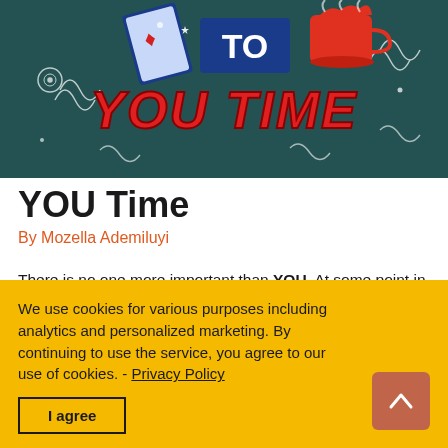[Figure (photo): A decorative shop window or sign with colorful text reading 'YOU TIME' in bold red letters with swirls and decorative elements including playing cards and a coffee cup, on a dark teal/blue background.]
YOU Time
By Mozella Ademiluyi
There is no one more important than YOU. At some point in time though, you may have believed that everyone and everything had greater priority than you had. And that you needed to keep ploughing ahead, meeting the deadlines, always putting others before yourself. Sure, you can keep doing that – but
We use cookies for various purposes including analytics and personalized marketing. By continuing to use the service, you agree to our use of cookies. - Privacy Policy
I agree